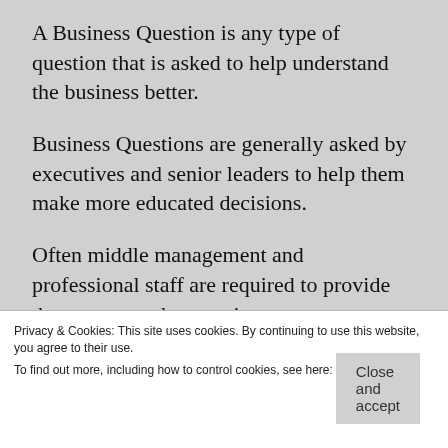A Business Question is any type of question that is asked to help understand the business better.
Business Questions are generally asked by executives and senior leaders to help them make more educated decisions.
Often middle management and professional staff are required to provide the answer to the question.
There is no bad question.
Privacy & Cookies: This site uses cookies. By continuing to use this website, you agree to their use.
To find out more, including how to control cookies, see here: Cookie Policy
Close and accept